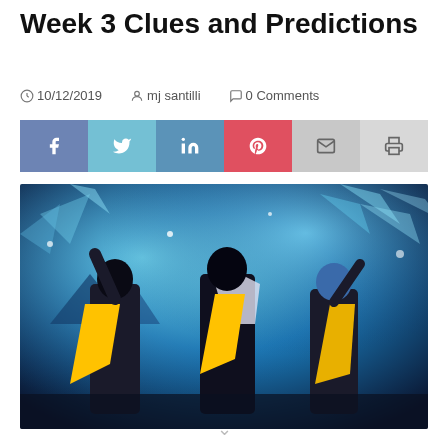Week 3 Clues and Predictions
10/12/2019  mj santilli  0 Comments
[Figure (infographic): Social sharing button bar with Facebook, Twitter, LinkedIn, Pinterest, Email, and Print buttons]
[Figure (photo): Three performers in black costumes with yellow capes/scarves performing on a stage with blue icy/crystal background effects]